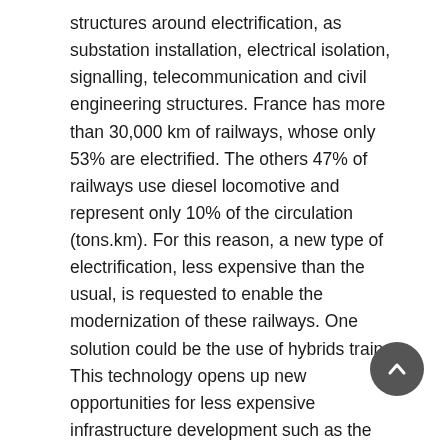structures around electrification, as substation installation, electrical isolation, signalling, telecommunication and civil engineering structures. France has more than 30,000 km of railways, whose only 53% are electrified. The others 47% of railways use diesel locomotive and represent only 10% of the circulation (tons.km). For this reason, a new type of electrification, less expensive than the usual, is requested to enable the modernization of these railways. One solution could be the use of hybrids trains. This technology opens up new opportunities for less expensive infrastructure development such as the partial electrification of railway lines. In a partially electrified railway, the power supply of theses hybrid trains could be made either by the catenary or by the on-board energy storage system (ESS). Thus, the on-board ESS would feed the energetic needs of the train along the non-electrified zones while in electrified